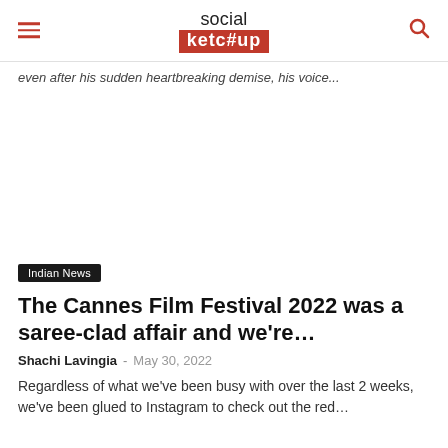social ketc#up
even after his sudden heartbreaking demise, his voice...
[Figure (other): Blank white image placeholder area]
Indian News
The Cannes Film Festival 2022 was a saree-clad affair and we're...
Shachi Lavingia - May 30, 2022
Regardless of what we've been busy with over the last 2 weeks, we've been glued to Instagram to check out the red...